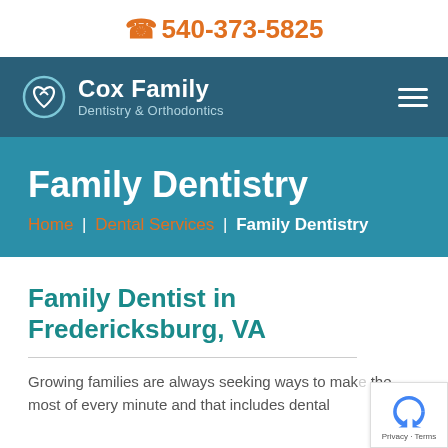☎ 540-373-5825
[Figure (logo): Cox Family Dentistry & Orthodontics logo with tooth/heart icon]
Family Dentistry
Home | Dental Services | Family Dentistry
Family Dentist in Fredericksburg, VA
Growing families are always seeking ways to make the most of every minute and that includes dental